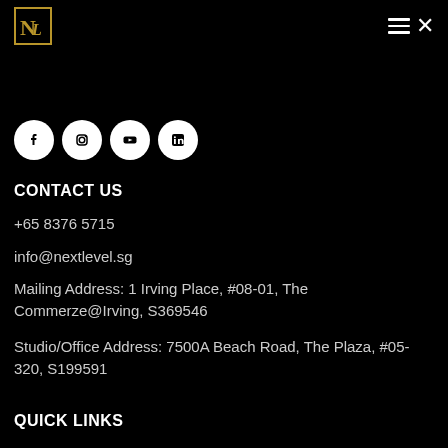[Figure (logo): Next Level logo with stylized NL letters in gold on black square with gold border]
[Figure (other): Hamburger menu icon (three lines) followed by X close icon in white]
[Figure (other): Four social media icons in white circles: Facebook, Instagram, YouTube, LinkedIn]
CONTACT US
+65 8376 5715
info@nextlevel.sg
Mailing Address: 1 Irving Place, #08-01, The Commerze@Irving, S369546
Studio/Office Address: 7500A Beach Road, The Plaza, #05-320, S199591
QUICK LINKS